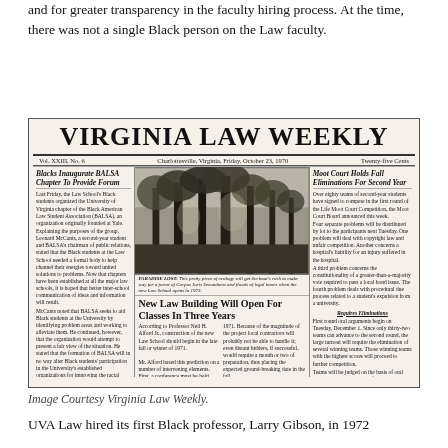and for greater transparency in the faculty hiring process. At the time, there was not a single Black person on the Law faculty.
[Figure (photo): Scanned image of the Virginia Law Weekly newspaper front page, Vol. XXIII, No. 6, Friday, October 23, 1970, featuring articles: 'Blacks Inaugurate BALSA Chapter To Provide Forum', 'Moot Court Holds Fall Eliminations For Second Year', 'New Law Building Will Open For Classes In Three Years', and a nature photo captioned 'PARADISE LOST'.]
Image Courtesy Virginia Law Weekly.
UVA Law hired its first Black professor, Larry Gibson, in 1972